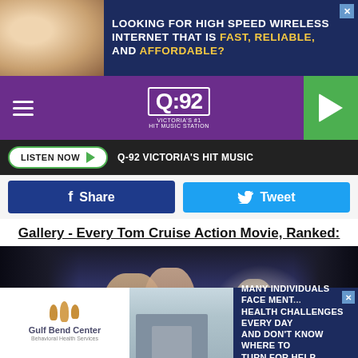[Figure (screenshot): Top advertisement banner: photo of couple with text 'LOOKING FOR HIGH SPEED WIRELESS INTERNET THAT IS FAST, RELIABLE, AND AFFORDABLE?' on dark blue background]
[Figure (logo): Q-92 Victoria's #1 Hit Music Station logo on purple navigation bar with hamburger menu and green play button]
LISTEN NOW  Q-92 VICTORIA'S HIT MUSIC
Share
Tweet
Gallery - Every Tom Cruise Action Movie, Ranked:
[Figure (photo): Dark cinematic photo showing three figures in a misty/rocky environment, movie still]
[Figure (screenshot): Bottom advertisement for Gulf Bend Center with text 'MANY INDIVIDUALS FACE MENTAL HEALTH CHALLENGES EVERY DAY AND DON'T KNOW WHERE TO TURN FOR HELP.']